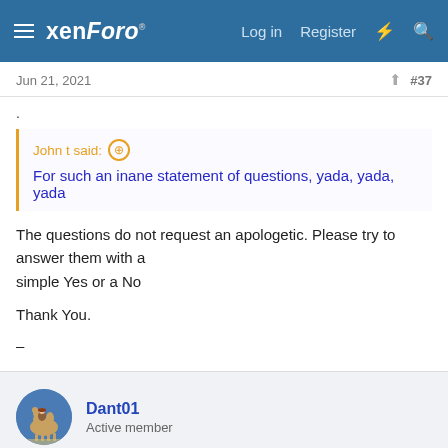xenForo® Log in Register
Jun 21, 2021 #37
.
John t said: ↑ For such an inane statement of questions, yada, yada, yada
The questions do not request an apologetic. Please try to answer them with a simple Yes or a No

Thank You.
–
Dant01
Active member